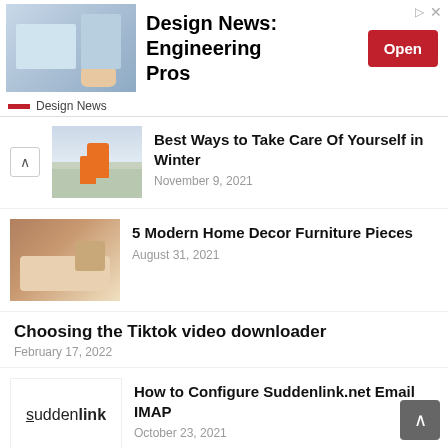[Figure (screenshot): Advertisement banner for Design News: Engineering Pros with photo of engineering equipment, bold headline, Open button, and Design News sponsor logo]
Best Ways to Take Care Of Yourself in Winter
November 9, 2021
5 Modern Home Decor Furniture Pieces
August 31, 2021
Choosing the Tiktok video downloader
February 17, 2022
How to Configure Suddenlink.net Email IMAP
October 23, 2021
Shielded Metal-arc Welding Shielded
October 10, 2021